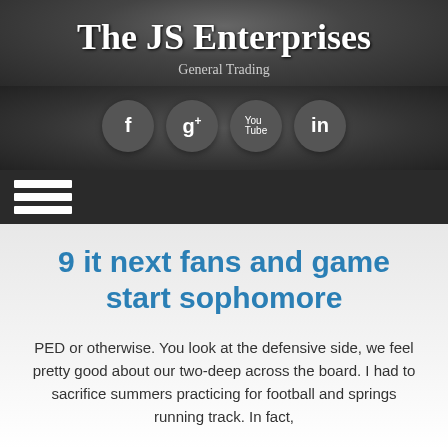The JS Enterprises
General Trading
[Figure (infographic): Social media icons row: Facebook (f), Google+ (g+), YouTube, LinkedIn (in) — dark circular buttons on dark textured background]
[Figure (infographic): Hamburger menu icon — three white horizontal bars on dark background nav bar]
9 it next fans and game start sophomore
PED or otherwise. You look at the defensive side, we feel pretty good about our two-deep across the board. I had to sacrifice summers practicing for football and springs running track. In fact,